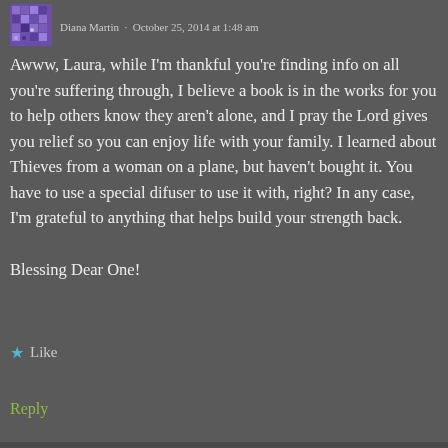[Figure (other): Purple pixel/mosaic avatar icon in top-left corner]
Diana Martin · October 25, 2014 at 1:48 am
Awww, Laura, while I'm thankful you're finding info on all you're suffering through, I believe a book is in the works for you to help others know they aren't alone, and I pray the Lord gives you relief so you can enjoy life with your family. I learned about Thieves from a woman on a plane, but haven't bought it. You have to use a special difuser to use it with, right? In any case, I'm grateful to anything that helps build your strength back.
Blessing Dear One!
★ Like
Reply